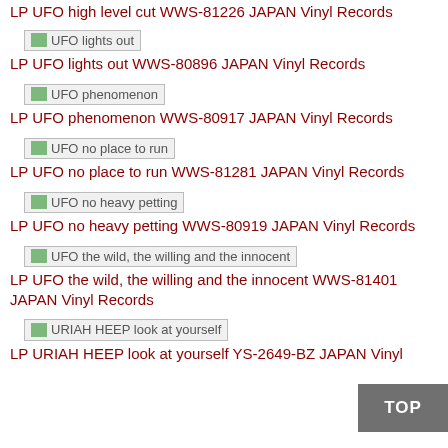LP UFO high level cut WWS-81226 JAPAN Vinyl Records
[Figure (illustration): Broken image placeholder for UFO lights out]
LP UFO lights out WWS-80896 JAPAN Vinyl Records
[Figure (illustration): Broken image placeholder for UFO phenomenon]
LP UFO phenomenon WWS-80917 JAPAN Vinyl Records
[Figure (illustration): Broken image placeholder for UFO no place to run]
LP UFO no place to run WWS-81281 JAPAN Vinyl Records
[Figure (illustration): Broken image placeholder for UFO no heavy petting]
LP UFO no heavy petting WWS-80919 JAPAN Vinyl Records
[Figure (illustration): Broken image placeholder for UFO the wild, the willing and the innocent]
LP UFO the wild, the willing and the innocent WWS-81401 JAPAN Vinyl Records
[Figure (illustration): Broken image placeholder for URIAH HEEP look at yourself]
LP URIAH HEEP look at yourself YS-2649-BZ JAPAN Vinyl